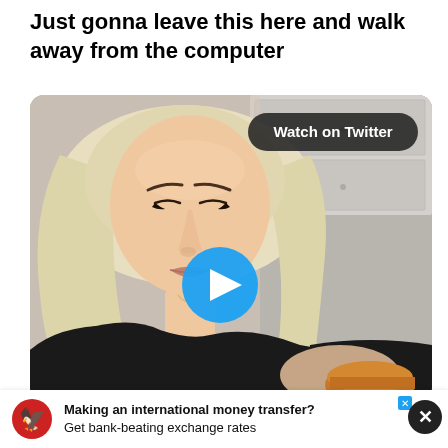Just gonna leave this here and walk away from the computer
[Figure (screenshot): A woman with long blonde hair wearing a black top, holding a food item, with a 'Watch on Twitter' badge in the upper right and a blue play button in the center. Background shows a kitchen setting.]
Making an international money transfer? Get bank-beating exchange rates